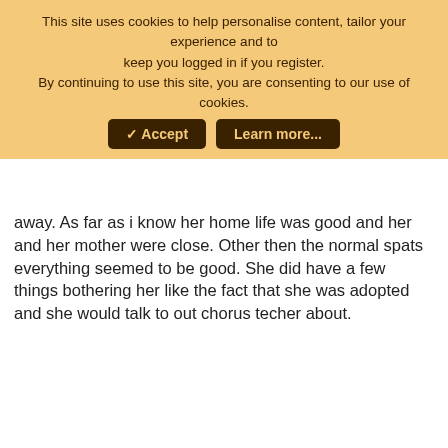This site uses cookies to help personalise content, tailor your experience and to keep you logged in if you register. By continuing to use this site, you are consenting to our use of cookies.
✓ Accept | Learn more...
away. As far as i know her home life was good and her and her mother were close. Other then the normal spats everything seemed to be good. She did have a few things bothering her like the fact that she was adopted and she would talk to out chorus techer about.
hoppyfrog
Retired WS Staff
Nov 20, 2009
#10